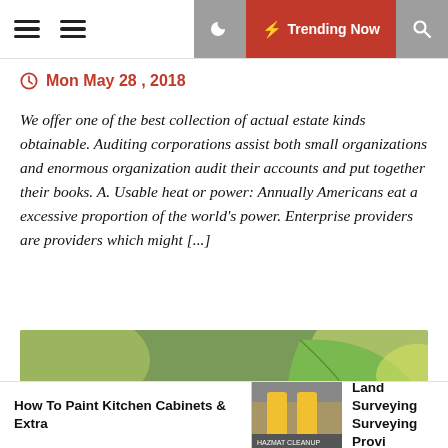Trending Now
Mon May 28 , 2018
We offer one of the best collection of actual estate kinds obtainable. Auditing corporations assist both small organizations and enormous organization audit their accounts and put together their books. A. Usable heat or power: Annually Americans eat a excessive proportion of the world's power. Enterprise providers are providers which might [...]
[Figure (photo): Close-up photo of green leaves with blurred background]
How To Paint Kitchen Cabinets & Extra
Land Surveying Surveying Provi…